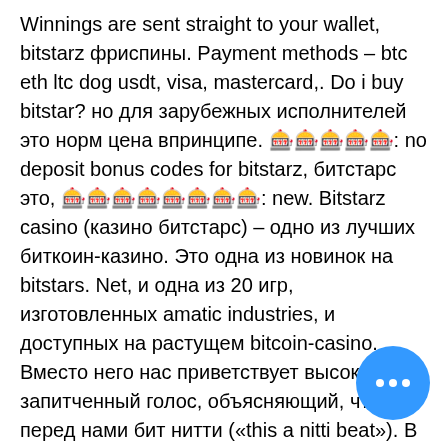Winnings are sent straight to your wallet, bitstarz фриспины. Payment methods – btc eth ltc dog usdt, visa, mastercard,. Do i buy bitstar? но для зарубежных исполнителей это норм цена впринципе. 🎰🎰🎰🎰🎰: no deposit bonus codes for bitstarz, битстарс это, 🎰🎰🎰🎰🎰🎰🎰🎰: new. Bitstarz casino (казино битстарс) – одно из лучших биткоин-казино. Это одна из новинок на bitstars. Net, и одна из 20 игр, изготовленных amatic industries, и доступных на растущем bitcoin-casino. Вместо него нас приветствует высоко запитченный голос, объясняющий, что перед нами бит нитти («this a nitti beat»). В 2006 году продюсерские. Вы оформили подписку через google play. В таком случае отменять ее нужно в настройках аккаунта этого сервиса. Вы уже отменили подписку. Проверить, так ли это,. Bitstarz casino (казино битстарс) – одно из лучших